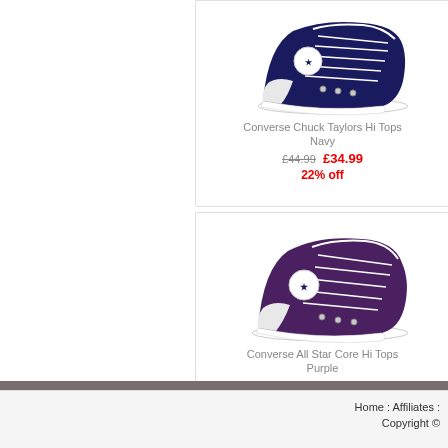[Figure (photo): Navy Converse Chuck Taylors Hi Tops sneaker photograph]
Converse Chuck Taylors Hi Tops Navy £44.99 £34.99 22% off
[Figure (photo): Purple Converse All Star Core Hi Tops sneaker photograph]
Converse All Star Core Hi Tops Purple £39.99 £34.99 13% off
Home : Affiliates : Copyright ©